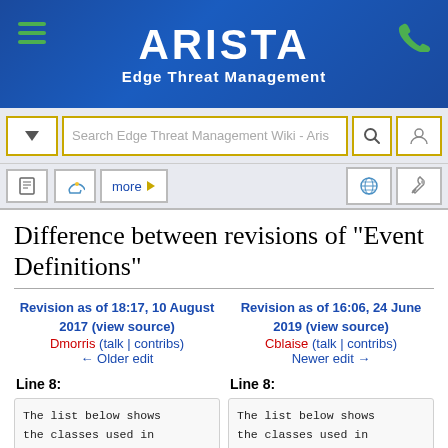[Figure (logo): Arista Edge Threat Management header with hamburger menu, ARISTA logo, Edge Threat Management subtitle, and phone icon on blue gradient background]
[Figure (screenshot): Search bar with dropdown, search input field placeholder 'Search Edge Threat Management Wiki - Aris', search icon button, and user icon button with gold/yellow borders]
[Figure (screenshot): Toolbar with page icon, talk icon, 'more' button with arrow, globe icon, and wrench icon]
Difference between revisions of "Event Definitions"
Revision as of 18:17, 10 August 2017 (view source)
Dmorris (talk | contribs)
← Older edit
Revision as of 16:06, 24 June 2019 (view source)
Cblaise (talk | contribs)
Newer edit →
Line 8:
Line 8:
The list below shows the classes used in the event logging and the attributes of each
The list below shows the classes used in the event logging and the attributes of each